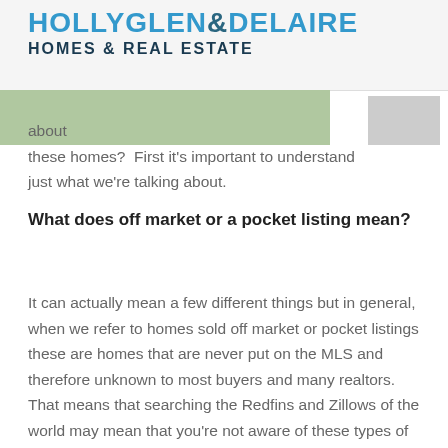[Figure (logo): HollyGlen & Delaire Homes & Real Estate logo in blue and dark navy text]
[Figure (photo): Partial photo of a driveway or concrete surface with grass, with a grey box partially visible on the right]
about these homes?  First it's important to understand just what we're talking about.
What does off market or a pocket listing mean?
It can actually mean a few different things but in general, when we refer to homes sold off market or pocket listings these are homes that are never put on the MLS and therefore unknown to most buyers and many realtors.  That means that searching the Redfins and Zillows of the world may mean that you're not aware of these types of